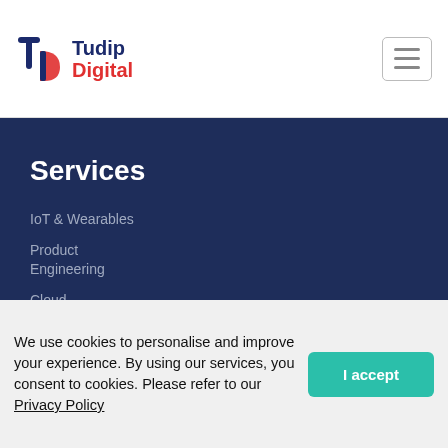[Figure (logo): Tudip Digital logo with stylized 'td' icon in navy blue and red, with company name 'Tudip Digital' in navy and red text]
[Figure (other): Hamburger menu icon (three horizontal lines) in a rounded rectangle border]
Services
IoT & Wearables
Product Engineering
Cloud Enablement
We use cookies to personalise and improve your experience. By using our services, you consent to cookies. Please refer to our Privacy Policy
I accept